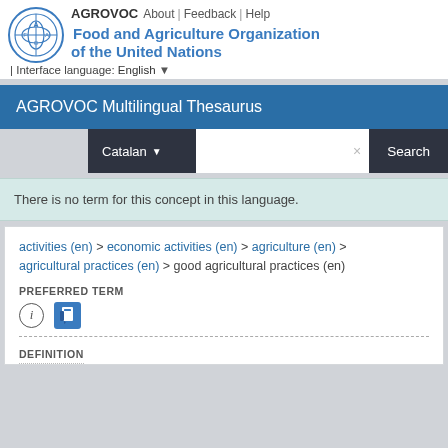AGROVOC | About | Feedback | Help | Food and Agriculture Organization of the United Nations | Interface language: English
AGROVOC Multilingual Thesaurus
Catalan ▼  ×  Search
There is no term for this concept in this language.
activities (en) > economic activities (en) > agriculture (en) > agricultural practices (en) > good agricultural practices (en)
PREFERRED TERM
DEFINITION